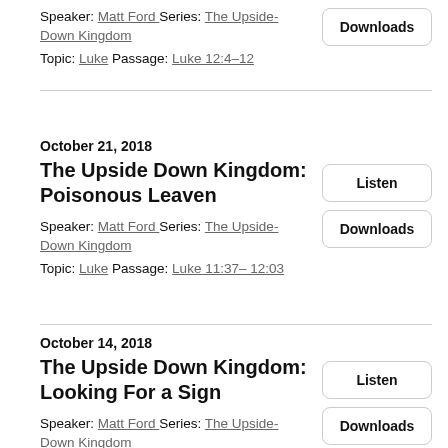Speaker: Matt Ford Series: The Upside-Down Kingdom
Topic: Luke Passage: Luke 12:4–12
Downloads
October 21, 2018
The Upside Down Kingdom: Poisonous Leaven
Speaker: Matt Ford Series: The Upside-Down Kingdom
Topic: Luke Passage: Luke 11:37– 12:03
Listen
Downloads
October 14, 2018
The Upside Down Kingdom: Looking For a Sign
Speaker: Matt Ford Series: The Upside-Down Kingdom
Topic: Luke Passage: Luke 11:29–36
Listen
Downloads